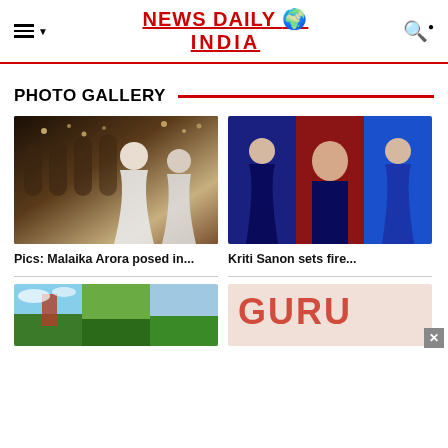NEWS DAILY INDIA
PHOTO GALLERY
[Figure (photo): Malaika Arora in white outfit posing in ornate interior setting]
Pics: Malaika Arora posed in...
[Figure (photo): Kriti Sanon in blue outfit against red background, three-panel photo]
Kriti Sanon sets fire...
[Figure (photo): Outdoor scene with sky and greenery, multiple panels]
[Figure (photo): Graphic/text overlay image with red stylized text]